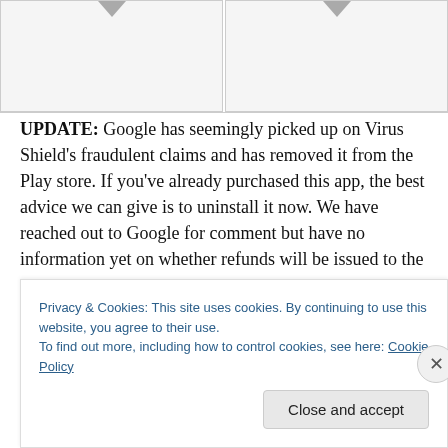[Figure (other): Two image placeholders side by side with downward arrows at top, shown as gray boxes with borders]
UPDATE: Google has seemingly picked up on Virus Shield's fraudulent claims and has removed it from the Play store. If you've already purchased this app, the best advice we can give is to uninstall it now. We have reached out to Google for comment but have no information yet on whether refunds will be issued to the many people who
Privacy & Cookies: This site uses cookies. By continuing to use this website, you agree to their use.
To find out more, including how to control cookies, see here: Cookie Policy
Close and accept